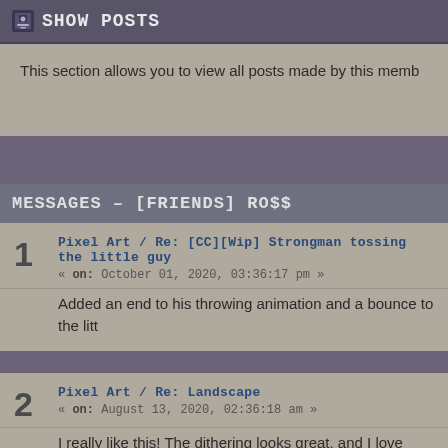SHOW POSTS
This section allows you to view all posts made by this member.
MESSAGES – [FRIENDS] RO$$
1 | Pixel Art / Re: [CC][Wip] Strongman tossing the little guy | « on: October 01, 2020, 03:36:17 pm »
Added an end to his throwing animation and a bounce to the litt
2 | Pixel Art / Re: Landscape | « on: August 13, 2020, 02:36:18 am »
I really like this! The dithering looks great, and I love how billow-